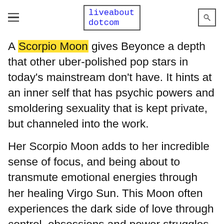liveabout dotcom
A Scorpio Moon gives Beyonce a depth that other uber-polished pop stars in today's mainstream don't have. It hints at an inner self that has psychic powers and smoldering sexuality that is kept private, but channeled into the work.
Her Scorpio Moon adds to her incredible sense of focus, and being about to transmute emotional energies through her healing Virgo Sun. This Moon often experiences the dark side of love through control, obsessions and power struggles.
[Figure (other): Dotdash Meredith advertisement banner: 'We help people find answers, solve problems and get inspired.' with D logo and Dotdash meredith branding]